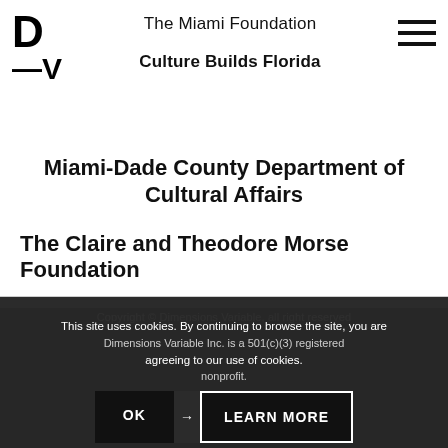[Figure (logo): D/V logo — large letters D and —V stacked vertically]
The Miami Foundation
Culture Builds Florida
Miami-Dade County Department of Cultural Affairs
The Claire and Theodore Morse Foundation
Copyright © Dimensions Variable, all right reserved
Dimensions Variable Inc. is a 501(c)(3) registered nonprofit.
This site uses cookies. By continuing to browse the site, you are agreeing to our use of cookies.
OK → LEARN MORE